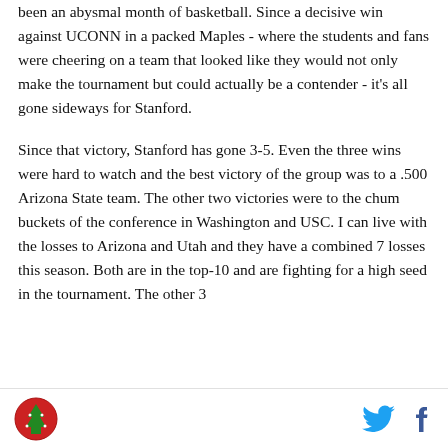been an abysmal month of basketball. Since a decisive win against UCONN in a packed Maples - where the students and fans were cheering on a team that looked like they would not only make the tournament but could actually be a contender - it's all gone sideways for Stanford.
Since that victory, Stanford has gone 3-5. Even the three wins were hard to watch and the best victory of the group was to a .500 Arizona State team. The other two victories were to the chum buckets of the conference in Washington and USC. I can live with the losses to Arizona and Utah and they have a combined 7 losses this season. Both are in the top-10 and are fighting for a high seed in the tournament. The other 3
Logo and social icons